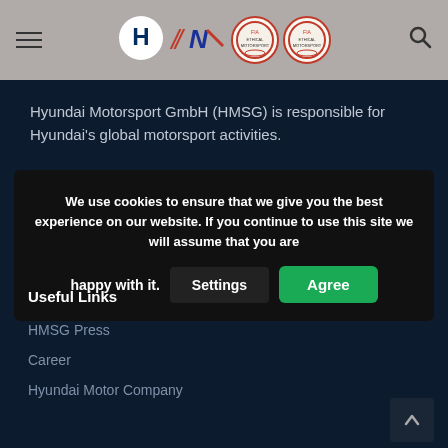[Figure (logo): Hyundai Motorsport website header with hamburger menu, Hyundai Motorsport logo, N logo, two FIA award badges, and search icon on grey background]
Hyundai Motorsport GmbH (HMSG) is responsible for Hyundai's global motorsport activities.
We use cookies to ensure that we give you the best experience on our website. If you continue to use this site we will assume that you are happy with it.
Useful Links
HMSG Press
Career
Hyundai Motor Company